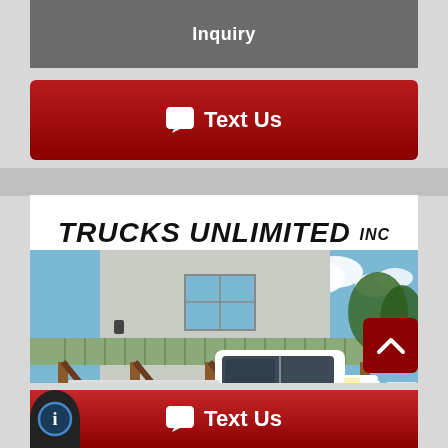Inquiry
Text Us
[Figure (photo): Trucks Unlimited INC dealer photo showing a white Ford F-150 pickup truck parked under a green metal roof canopy with wood posts, in front of a metal building, with blue sky and trees in the background.]
Text Us